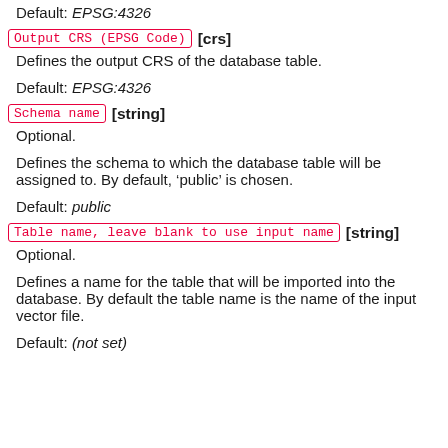Default: EPSG:4326
Output CRS (EPSG Code) [crs]
Defines the output CRS of the database table.
Default: EPSG:4326
Schema name [string]
Optional.
Defines the schema to which the database table will be assigned to. By default, ‘public’ is chosen.
Default: public
Table name, leave blank to use input name [string]
Optional.
Defines a name for the table that will be imported into the database. By default the table name is the name of the input vector file.
Default: (not set)